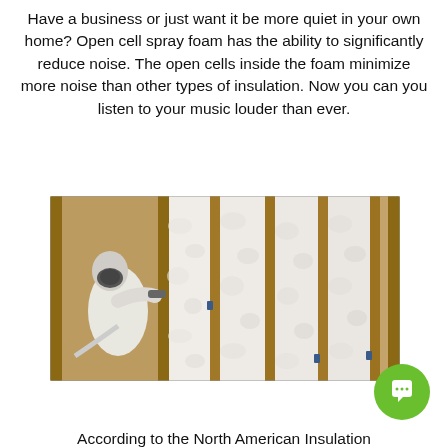Have a business or just want it be more quiet in your own home? Open cell spray foam has the ability to significantly reduce noise. The open cells inside the foam minimize more noise than other types of insulation. Now you can you listen to your music louder than ever.
[Figure (photo): Worker in white protective suit and respirator applying spray foam insulation between wooden wall studs. The completed sections on the right show thick white foam filling the stud bays.]
According to the North American Insulation